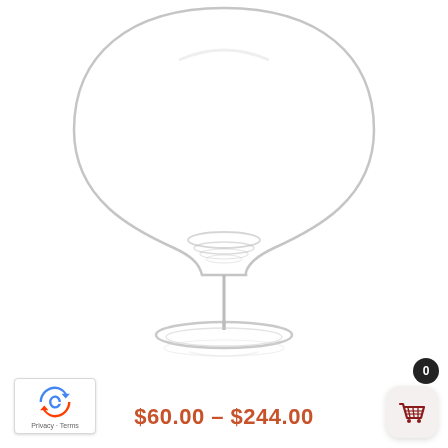[Figure (photo): A clear crystal wine glass (balloon/Burgundy style) with a large round bowl, thin stem, and wide flat base, photographed on a white background.]
$60.00 – $244.00